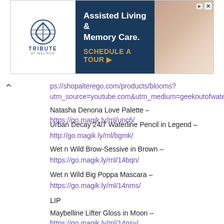[Figure (other): Tribute at Melrob assisted living advertisement banner with logo, dark blue background, gold CTA text, and photo of elderly person]
ps://shopalterego.com/products/blooms?
utm_source=youtube.com&utm_medium=geekoutofwater
Natasha Denona Love Palette – https://go.magik.ly/ml/unc6/
Urban Decay 24/7 Waterline Pencil in Legend –
http://go.magik.ly/ml/bgmk/
Wet n Wild Brow-Sessive in Brown –
https://go.magik.ly/ml/14bqn/
Wet n Wild Big Poppa Mascara –
https://go.magik.ly/ml/14nms/
LIP
Maybelline Lifter Gloss in Moon – https://go.magik.ly/ml/14nsy/
The eyeshadow brush I cannot live without, the Wayne Goss 03 – https://go.magik.ly/ml/9tq6/
YERSTYLE disclaimer with placeholder YERSGOW